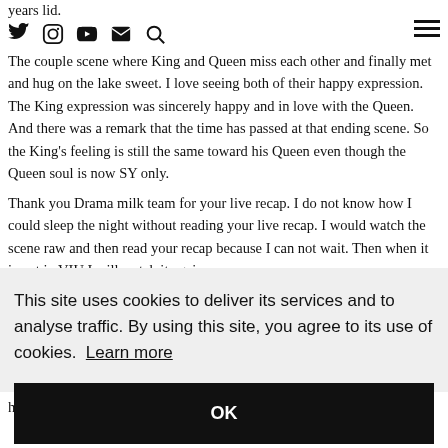years lid.
Social icons and navigation bar
The couple scene where King and Queen miss each other and finally met and hug on the lake sweet. I love seeing both of their happy expression. The King expression was sincerely happy and in love with the Queen. And there was a remark that the time has passed at that ending scene. So the King's feeling is still the same toward his Queen even though the Queen soul is now SY only.
Thank you Drama milk team for your live recap. I do not know how I could sleep the night without reading your live recap. I would watch the scene raw and then read your recap because I can not wait. Then when it is out in VIU I will watch it again.
This site uses cookies to deliver its services and to analyse traffic. By using this site, you agree to its use of cookies. Learn more
OK
hose time. She remembered him and he definitely remembered her too